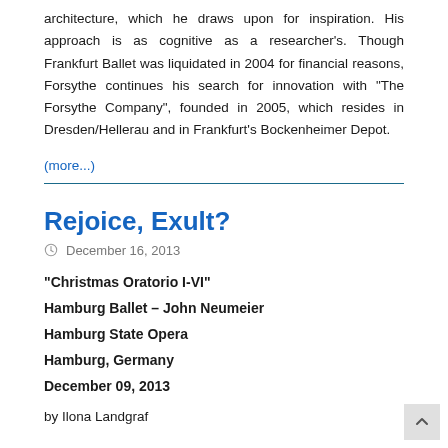architecture, which he draws upon for inspiration. His approach is as cognitive as a researcher's. Though Frankfurt Ballet was liquidated in 2004 for financial reasons, Forsythe continues his search for innovation with “The Forsythe Company", founded in 2005, which resides in Dresden/Hellerau and in Frankfurt's Bockenheimer Depot.
(more...)
Rejoice, Exult?
December 16, 2013
"Christmas Oratorio I-VI"
Hamburg Ballet – John Neumeier
Hamburg State Opera
Hamburg, Germany
December 09, 2013
by Ilona Landgraf